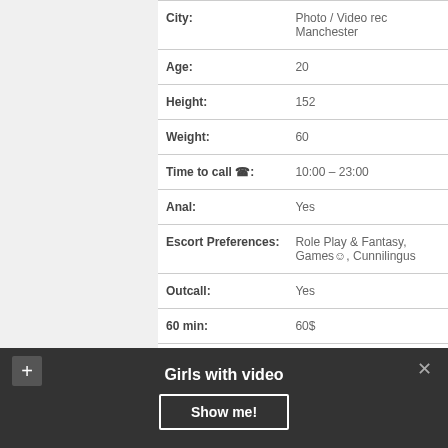| Field | Value |
| --- | --- |
| City: | Photo / Video rec Manchester |
| Age: | 20 |
| Height: | 152 |
| Weight: | 60 |
| Time to call ☎: | 10:00 – 23:00 |
| Anal: | Yes |
| Escort Preferences: | Role Play & Fantasy, Games☺, Cunnilingus |
| Outcall: | Yes |
| 60 min: | 60$ |
| Anal: | 320$ |
Girls with video
Show me!